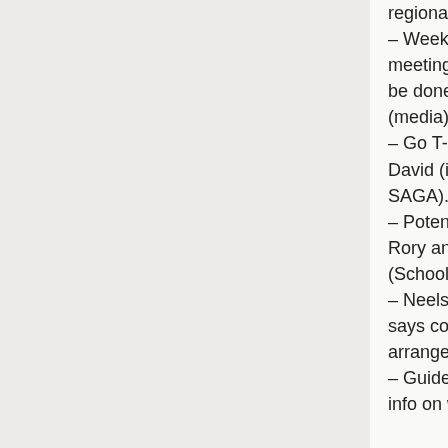regional council.
– Weekly annoucnment of Go meetings in local newspaper to be done by Jaco Swanepoel (media).
– Go T-Shirts to be handled by David (i.e. issue passed to SAGA).
– Potential Brackenfell club: Rory and Jaco to investigate (School Projects).
– Neelsie demo game: David says costs will be low. Jaco will arrange this (media).
– Guide for new players: basic info on website, no